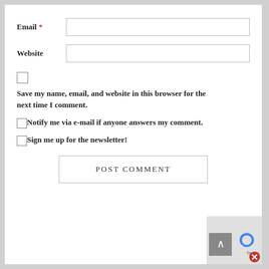Email *
Website
Save my name, email, and website in this browser for the next time I comment.
Notify me via e-mail if anyone answers my comment.
Sign me up for the newsletter!
POST COMMENT